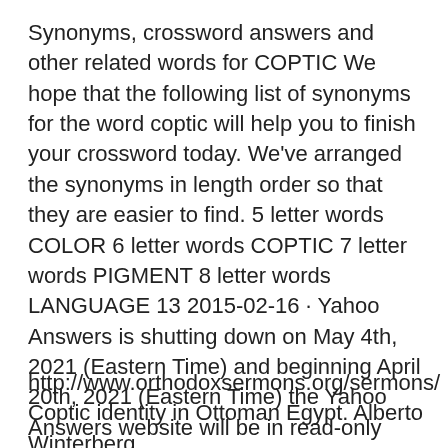Synonyms, crossword answers and other related words for COPTIC We hope that the following list of synonyms for the word coptic will help you to finish your crossword today. We've arranged the synonyms in length order so that they are easier to find. 5 letter words COLOR 6 letter words COPTIC 7 letter words PIGMENT 8 letter words LANGUAGE 13 2015-02-16 · Yahoo Answers is shutting down on May 4th, 2021 (Eastern Time) and beginning April 20th, 2021 (Eastern Time) the Yahoo Answers website will be in read-only mode. There will be no changes to other Yahoo properties or services, or your Yahoo account.
http://www.orthodoxsermons.org/sermons/  Coptic identity in Ottoman Egypt. Alberto Winterberg.